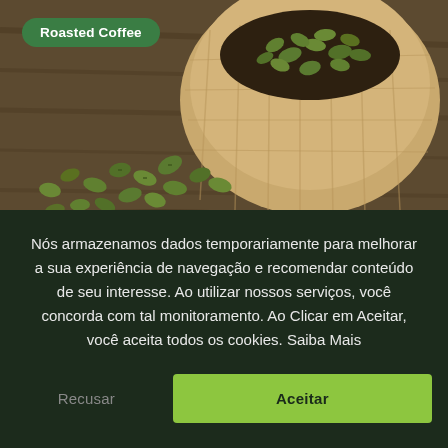[Figure (photo): A burlap sack spilling green coffee beans onto a wooden surface, photographed from above at an angle. The beans are olive-green and the sack is tan/natural-fiber colored.]
Roasted Coffee
Nós armazenamos dados temporariamente para melhorar a sua experiência de navegação e recomendar conteúdo de seu interesse. Ao utilizar nossos serviços, você concorda com tal monitoramento. Ao Clicar em Aceitar, você aceita todos os cookies. Saiba Mais
Recusar
Aceitar